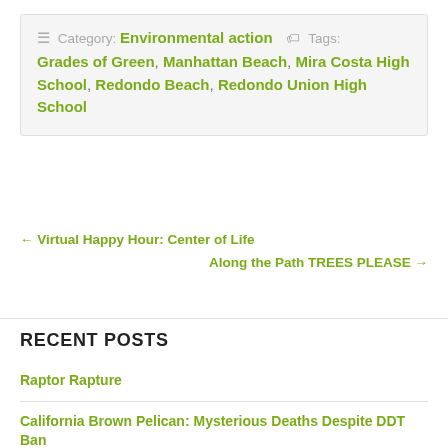≡ Category: Environmental action  🏷 Tags: Grades of Green, Manhattan Beach, Mira Costa High School, Redondo Beach, Redondo Union High School
← Virtual Happy Hour: Center of Life
Along the Path TREES PLEASE →
RECENT POSTS
Raptor Rapture
California Brown Pelican: Mysterious Deaths Despite DDT Ban
California Fires: The Good, the Bad, and the Ugly